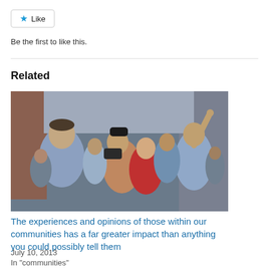[Figure (other): Like button widget with star icon]
Be the first to like this.
Related
[Figure (photo): Crowd of people looking upward, some pointing, photographed from ground level in an urban setting]
The experiences and opinions of those within our communities has a far greater impact than anything you could possibly tell them
July 10, 2013
In "communities"